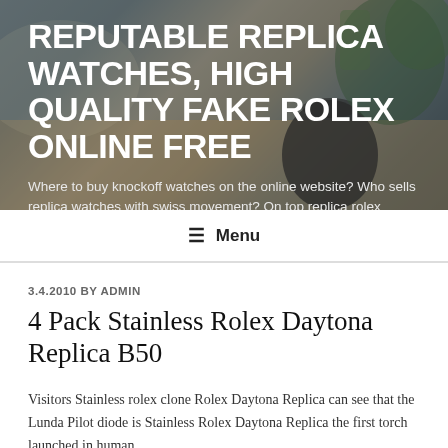[Figure (photo): Website banner/hero image with blurred photo background of a plant and table, overlaid with large bold white title text and subtitle text in white]
REPUTABLE REPLICA WATCHES, HIGH QUALITY FAKE ROLEX ONLINE FREE
Where to buy knockoff watches on the online website? Who sells replica watches with swiss movement? On top replica rolex Online
≡ Menu
3.4.2010 BY ADMIN
4 Pack Stainless Rolex Daytona Replica B50
Visitors Stainless rolex clone Rolex Daytona Replica can see that the Lunda Pilot diode is Stainless Rolex Daytona Replica the first torch launched in human